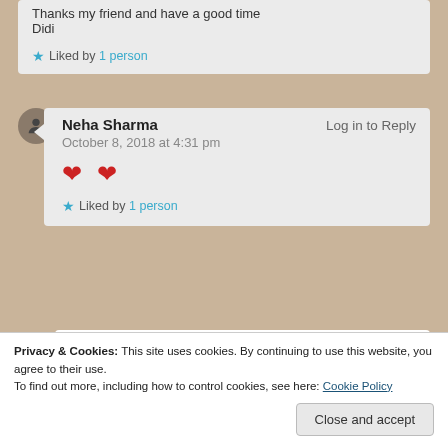Thanks my friend and have a good time
Didi
Liked by 1 person
Neha Sharma    Log in to Reply
October 8, 2018 at 4:31 pm
❤ ❤
Liked by 1 person
Didis Art Design  Log in to Reply
Privacy & Cookies: This site uses cookies. By continuing to use this website, you agree to their use.
To find out more, including how to control cookies, see here: Cookie Policy
Close and accept